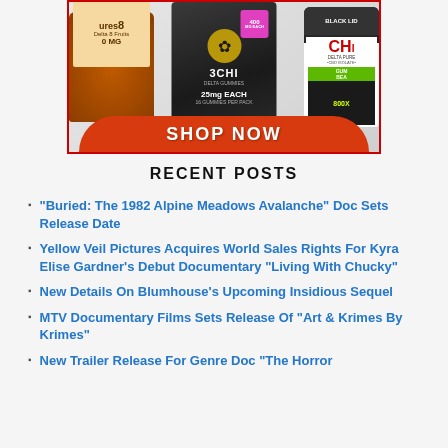[Figure (photo): Advertisement banner showing three cannabis/CBD gummy products (cures8 Delta 8 Fruits jar on left, 3CHI black bag in center with 400mg label and 25mg each, CHI gummy bears jar on right with 800x label) with a red 'SHOP NOW' button at the bottom.]
RECENT POSTS
“Buried: The 1982 Alpine Meadows Avalanche” Doc Sets Release Date
Yellow Veil Pictures Acquires World Sales Rights For Kyra Elise Gardner’s Debut Documentary “Living With Chucky”
New Details On Blumhouse’s Upcoming Insidious Sequel
MTV Documentary Films Sets Release Of “Art & Krimes By Krimes”
New Trailer Release For Genre Doc “The Horror